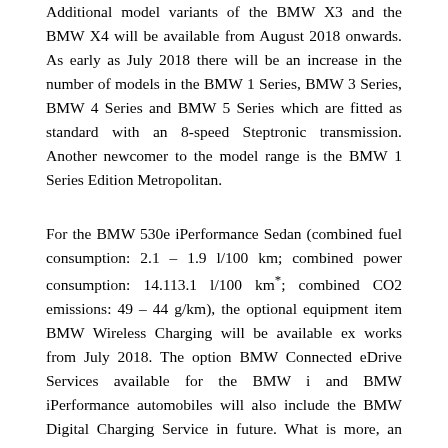Additional model variants of the BMW X3 and the BMW X4 will be available from August 2018 onwards. As early as July 2018 there will be an increase in the number of models in the BMW 1 Series, BMW 3 Series, BMW 4 Series and BMW 5 Series which are fitted as standard with an 8-speed Steptronic transmission. Another newcomer to the model range is the BMW 1 Series Edition Metropolitan.
For the BMW 530e iPerformance Sedan (combined fuel consumption: 2.1 – 1.9 l/100 km; combined power consumption: 14.113.1 l/100 km*; combined CO2 emissions: 49 – 44 g/km), the optional equipment item BMW Wireless Charging will be available ex works from July 2018. The option BMW Connected eDrive Services available for the BMW i and BMW iPerformance automobiles will also include the BMW Digital Charging Service in future. What is more, an aerodynamics package [Translate »] the BMW i8 Roadster (combined fuel